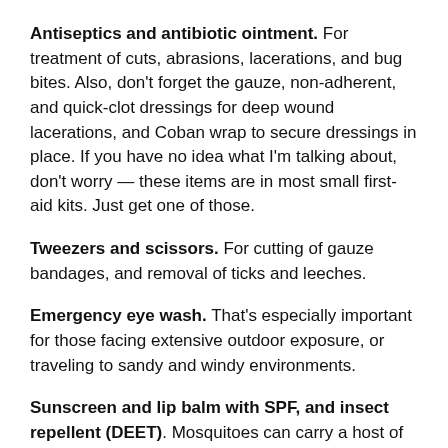Antiseptics and antibiotic ointment. For treatment of cuts, abrasions, lacerations, and bug bites. Also, don't forget the gauze, non-adherent, and quick-clot dressings for deep wound lacerations, and Coban wrap to secure dressings in place. If you have no idea what I'm talking about, don't worry — these items are in most small first-aid kits. Just get one of those.
Tweezers and scissors. For cutting of gauze bandages, and removal of ticks and leeches.
Emergency eye wash. That's especially important for those facing extensive outdoor exposure, or traveling to sandy and windy environments.
Sunscreen and lip balm with SPF, and insect repellent (DEET). Mosquitoes can carry a host of diseases. Also, pick fabrics and bed nets that contain permethrin for